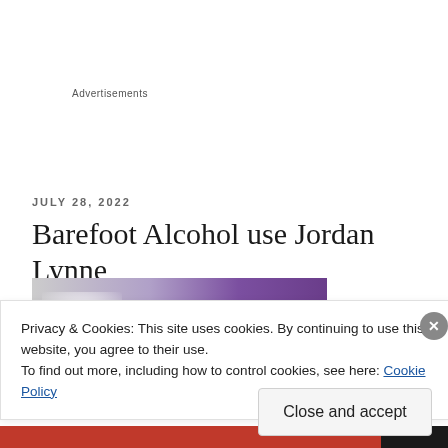Advertisements
JULY 28, 2022
Barefoot Alcohol use Jordan Lynne
[Figure (photo): Partial photo of a purple bottle or packaging with a glowing white area on the left side]
Privacy & Cookies: This site uses cookies. By continuing to use this website, you agree to their use.
To find out more, including how to control cookies, see here: Cookie Policy
Close and accept